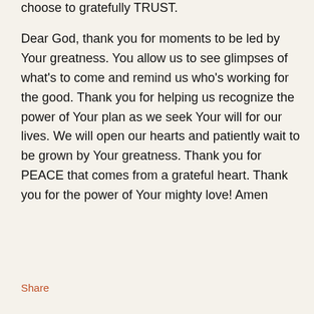choose to gratefully TRUST.
Dear God, thank you for moments to be led by Your greatness. You allow us to see glimpses of what's to come and remind us who's working for the good. Thank you for helping us recognize the power of Your plan as we seek Your will for our lives. We will open our hearts and patiently wait to be grown by Your greatness. Thank you for PEACE that comes from a grateful heart. Thank you for the power of Your mighty love! Amen
Share